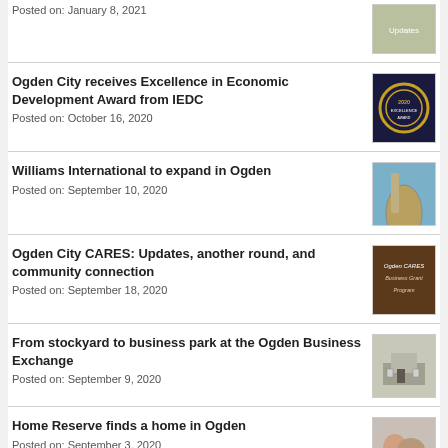Posted on: January 8, 2021
Ogden City receives Excellence in Economic Development Award from IEDC
Posted on: October 16, 2020
Williams International to expand in Ogden
Posted on: September 10, 2020
Ogden City CARES: Updates, another round, and community connection
Posted on: September 18, 2020
From stockyard to business park at the Ogden Business Exchange
Posted on: September 9, 2020
Home Reserve finds a home in Ogden
Posted on: September 3, 2020